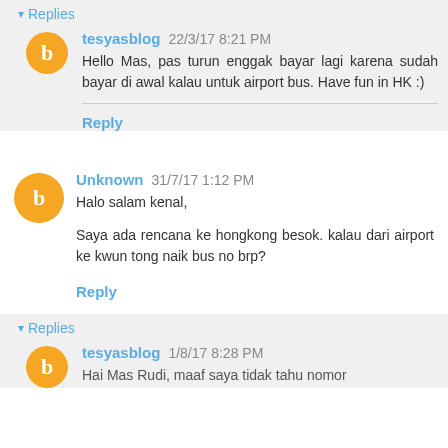▾ Replies
tesyasblog 22/3/17 8:21 PM
Hello Mas, pas turun enggak bayar lagi karena sudah bayar di awal kalau untuk airport bus. Have fun in HK :)
Reply
Unknown 31/7/17 1:12 PM
Halo salam kenal,
Saya ada rencana ke hongkong besok. kalau dari airport ke kwun tong naik bus no brp?
Reply
▾ Replies
tesyasblog 1/8/17 8:28 PM
Hai Mas Rudi, maaf saya tidak tahu nomor